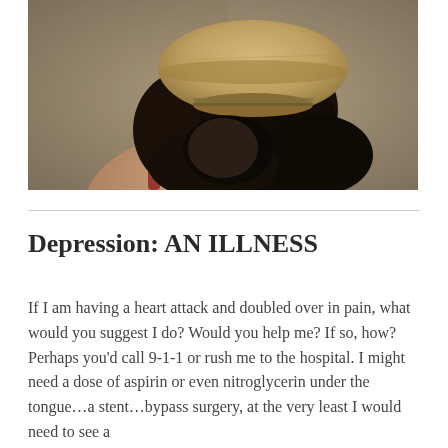[Figure (photo): A person with dark hair bent over with head down, wearing a tan/beige beret hat, shot against a muted background, conveying distress or depression.]
Depression: AN ILLNESS
If I am having a heart attack and doubled over in pain, what would you suggest I do? Would you help me? If so, how? Perhaps you'd call 9-1-1 or rush me to the hospital. I might need a dose of aspirin or even nitroglycerin under the tongue…a stent…bypass surgery, at the very least I would need to see a